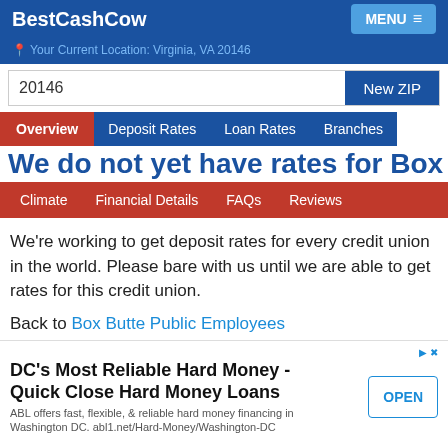BestCashCow
Your Current Location: Virginia, VA 20146
20146   New ZIP
Overview  Deposit Rates  Loan Rates  Branches
We do not yet have rates for Box
Climate  Financial Details  FAQs  Reviews
We're working to get deposit rates for every credit union in the world. Please bare with us until we are able to get rates for this credit union.
Back to Box Butte Public Employees
to Box Butte Public Employees
DC's Most Reliable Hard Money - Quick Close Hard Money Loans
ABL offers fast, flexible, & reliable hard money financing in Washington DC. abl1.net/Hard-Money/Washington-DC